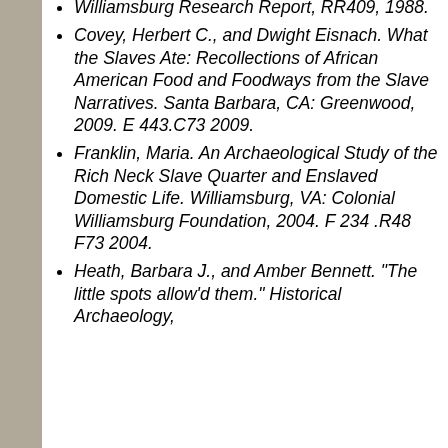Williamsburg Research Report, RR409, 1988.
Covey, Herbert C., and Dwight Eisnach. What the Slaves Ate: Recollections of African American Food and Foodways from the Slave Narratives. Santa Barbara, CA: Greenwood, 2009. E 443.C73 2009.
Franklin, Maria. An Archaeological Study of the Rich Neck Slave Quarter and Enslaved Domestic Life. Williamsburg, VA: Colonial Williamsburg Foundation, 2004. F 234 .R48 F73 2004.
Heath, Barbara J., and Amber Bennett. "The little spots allow'd them." Historical Archaeology,